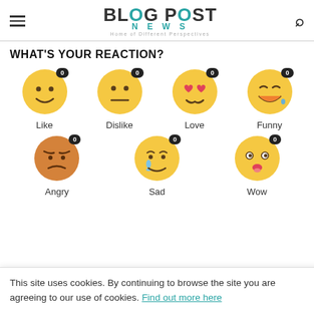BLOG POST NEWS — Home of Different Perspectives
WHAT'S YOUR REACTION?
[Figure (infographic): Seven reaction emojis (Like, Dislike, Love, Funny, Angry, Sad, Wow) each with a count badge showing 0]
This site uses cookies. By continuing to browse the site you are agreeing to our use of cookies. Find out more here